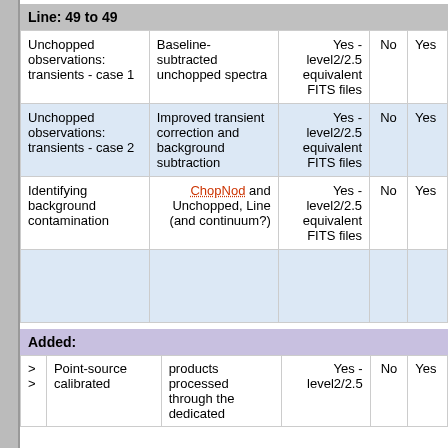Line: 49 to 49
|  |  |  | No | Yes |
| --- | --- | --- | --- | --- |
| Unchopped observations: transients - case 1 | Baseline-subtracted unchopped spectra | Yes - level2/2.5 equivalent FITS files | No | Yes |
| Unchopped observations: transients - case 2 | Improved transient correction and background subtraction | Yes - level2/2.5 equivalent FITS files | No | Yes |
| Identifying background contamination | ChopNod and Unchopped, Line (and continuum?) | Yes - level2/2.5 equivalent FITS files | No | Yes |
Added:
|  |  |  | No | Yes |
| --- | --- | --- | --- | --- |
| Point-source calibrated | products processed through the dedicated | Yes - level2/2.5 | No | Yes |